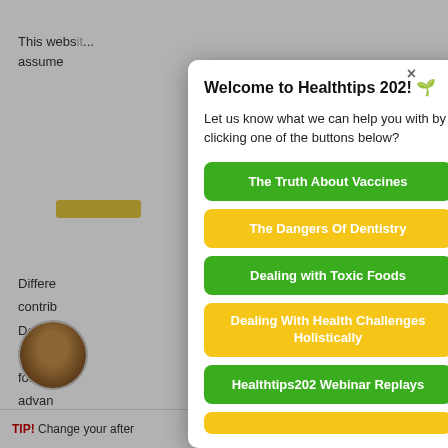This website... assume
Differe
contrib
Don't p
tight, d
for too
advan
cause
how yo
hairsty
ft c
n
Welcome to Healthtips 202! 🌱
Let us know what we can help you with by clicking one of the buttons below?
The Truth About Vaccines
The Dangers Of Dentistry
Dealing with Toxic Foods
Dealing With Health Challenges Holistically
Healthtips202 Webinar Replays
TIP! Change your after
Blading can be exacerbated